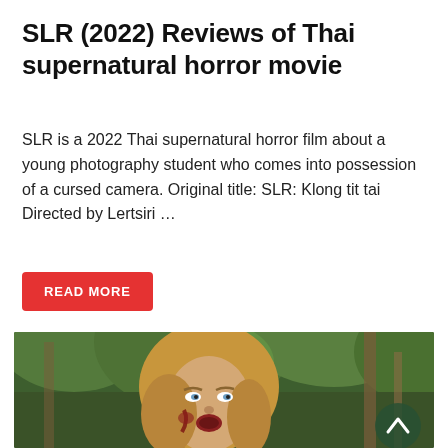SLR (2022) Reviews of Thai supernatural horror movie
SLR is a 2022 Thai supernatural horror film about a young photography student who comes into possession of a cursed camera. Original title: SLR: Klong tit tai Directed by Lertsiri …
READ MORE
[Figure (photo): A woman with long blonde hair and what appears to be blood or dirt on her face looks to the side in a forest setting. A dark circular back-to-top button with a chevron arrow is overlaid in the bottom right of the image.]